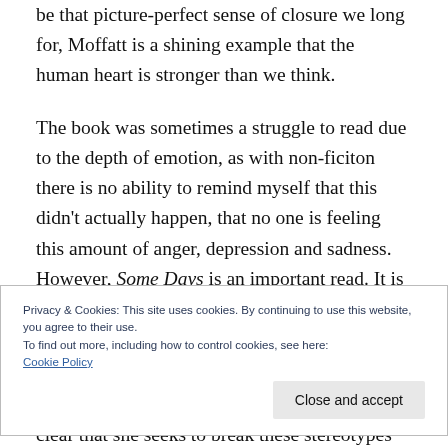be that picture-perfect sense of closure we long for, Moffatt is a shining example that the human heart is stronger than we think.
The book was sometimes a struggle to read due to the depth of emotion, as with non-ficiton there is no ability to remind myself that this didn't actually happen, that no one is feeling this amount of anger, depression and sadness. However, Some Days is an important read. It is not just a book about death but about growing
Privacy & Cookies: This site uses cookies. By continuing to use this website, you agree to their use.
To find out more, including how to control cookies, see here:
Cookie Policy
Close and accept
clear that she seeks to break these stereotypes